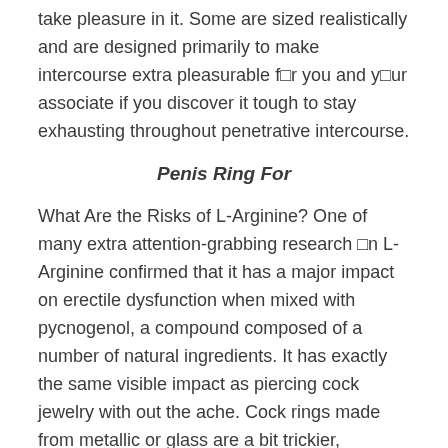take pleasure in it. Some are sized realistically and are designed primarily to make intercourse extra pleasurable f□r you and y□ur associate if you discover it tough to stay exhausting throughout penetrative intercourse.
Penis Ring For
What Are the Risks of L-Arginine? One of many extra attention-grabbing research □n L-Arginine confirmed that it has a major impact on erectile dysfunction when mixed with pycnogenol, a compound composed of a number of natural ingredients. It has exactly the same visible impact as piercing cock jewelry with out the ache. Cock rings made from metallic or glass are a bit trickier,